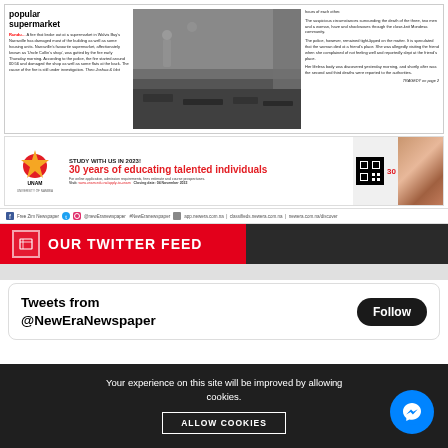[Figure (screenshot): Newspaper article about fire at popular supermarket with article text on left, fire damage photo in center, and continuation text on right]
[Figure (screenshot): UNAM advertisement: Study With Us In 2023! 30 years of educating talented individuals]
Free Zim Newspaper @newEranewspaper #NewEranewspaper app.newera.com.na | classifieds.newera.com.na | newera.com.na/discover
OUR TWITTER FEED
Tweets from @NewEraNewspaper
Follow
Your experience on this site will be improved by allowing cookies. ALLOW COOKIES